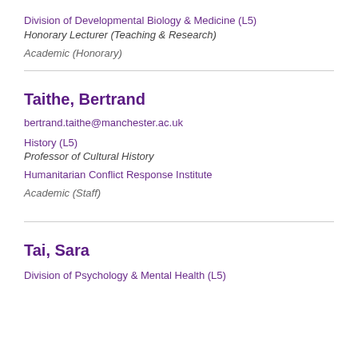Division of Developmental Biology & Medicine (L5)
Honorary Lecturer (Teaching & Research)
Academic (Honorary)
Taithe, Bertrand
bertrand.taithe@manchester.ac.uk
History (L5)
Professor of Cultural History
Humanitarian Conflict Response Institute
Academic (Staff)
Tai, Sara
Division of Psychology & Mental Health (L5)